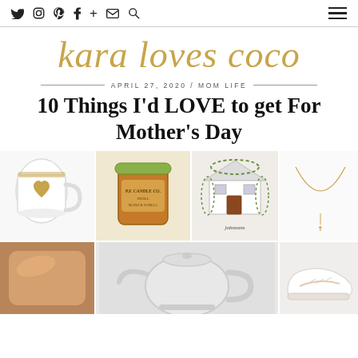kara loves coco — navigation header with social icons
kara loves coco
APRIL 27, 2020 / MOM LIFE
10 Things I'd LOVE to get For Mother's Day
[Figure (photo): Grid of 7 product photos: white heart mug, amber candle jar, custom house illustration, gold necklace, rose gold pillow, white electric kettle, white sneakers]
Product images for Mother's Day gift guide